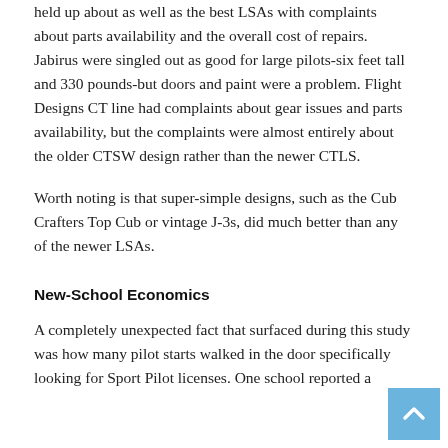held up about as well as the best LSAs with complaints about parts availability and the overall cost of repairs. Jabirus were singled out as good for large pilots-six feet tall and 330 pounds-but doors and paint were a problem. Flight Designs CT line had complaints about gear issues and parts availability, but the complaints were almost entirely about the older CTSW design rather than the newer CTLS.
Worth noting is that super-simple designs, such as the Cub Crafters Top Cub or vintage J-3s, did much better than any of the newer LSAs.
New-School Economics
A completely unexpected fact that surfaced during this study was how many pilot starts walked in the door specifically looking for Sport Pilot licenses. One school reported a